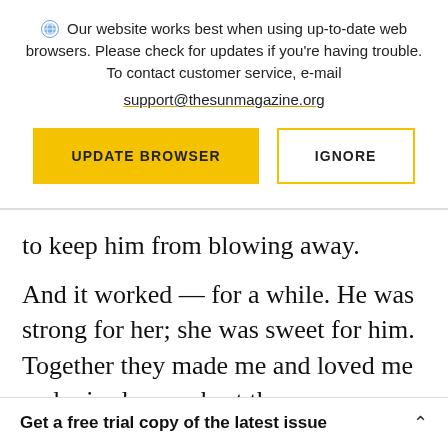Our website works best when using up-to-date web browsers. Please check for updates if you're having trouble. To contact customer service, e-mail support@thesunmagazine.org
UPDATE BROWSER
IGNORE
to keep him from blowing away.
And it worked — for a while. He was strong for her; she was sweet for him. Together they made me and loved me and raised me as best they
Get a free trial copy of the latest issue